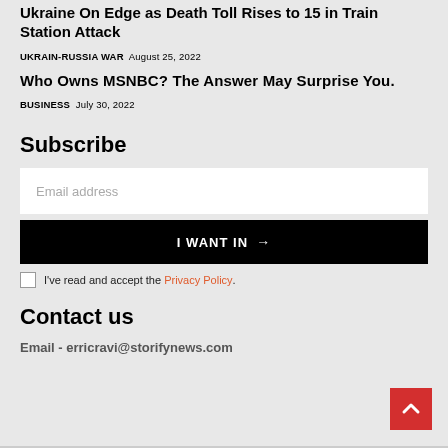Ukraine On Edge as Death Toll Rises to 15 in Train Station Attack
UKRAIN-RUSSIA WAR  August 25, 2022
Who Owns MSNBC? The Answer May Surprise You.
BUSINESS  July 30, 2022
Subscribe
Email address
I WANT IN →
I've read and accept the Privacy Policy.
Contact us
Email - erricravi@storifynews.com